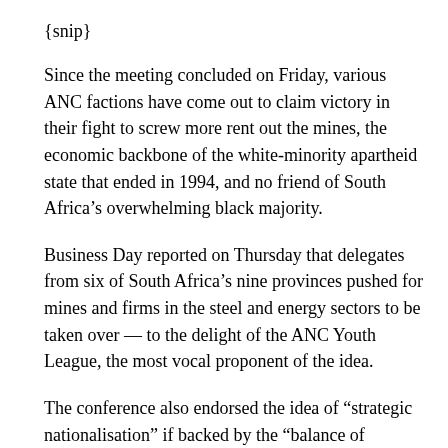{snip}
Since the meeting concluded on Friday, various ANC factions have come out to claim victory in their fight to screw more rent out the mines, the economic backbone of the white-minority apartheid state that ended in 1994, and no friend of South Africa's overwhelming black majority.
Business Day reported on Thursday that delegates from six of South Africa's nine provinces pushed for mines and firms in the steel and energy sectors to be taken over — to the delight of the ANC Youth League, the most vocal proponent of the idea.
The conference also endorsed the idea of “strategic nationalisation” if backed by the “balance of evidence” — whatever that may mean.